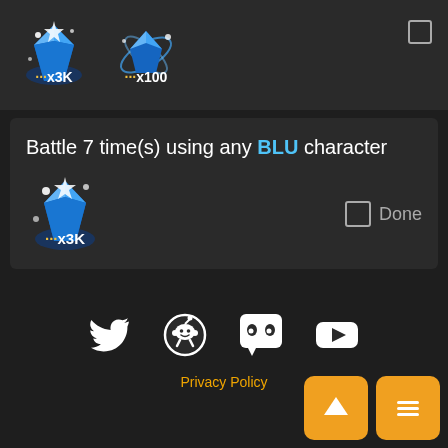[Figure (screenshot): Top reward strip showing two crystal icons with labels x3K and x100]
Battle 7 time(s) using any BLU character
[Figure (screenshot): Crystal reward icon with label x3K and a Done checkbox]
[Figure (infographic): Social media icons: Twitter, Reddit, Discord, YouTube]
Privacy Policy
[Figure (infographic): Two orange buttons: up arrow and hamburger menu]